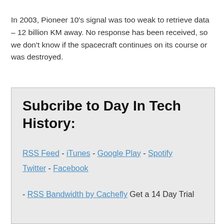In 2003, Pioneer 10's signal was too weak to retrieve data – 12 billion KM away. No response has been received, so we don't know if the spacecraft continues on its course or was destroyed.
Subcribe to Day In Tech History:
RSS Feed - iTunes - Google Play - Spotify Twitter - Facebook
- RSS Bandwidth by Cachefly Get a 14 Day Trial